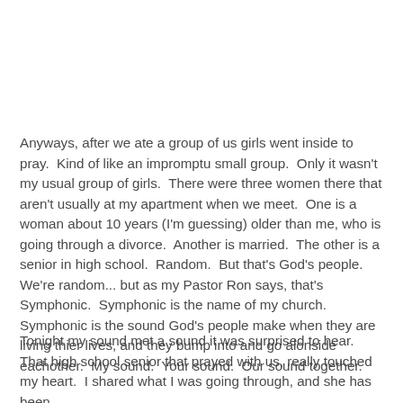Anyways, after we ate a group of us girls went inside to pray.  Kind of like an impromptu small group.  Only it wasn't my usual group of girls.  There were three women there that aren't usually at my apartment when we meet.  One is a woman about 10 years (I'm guessing) older than me, who is going through a divorce.  Another is married.  The other is a senior in high school.  Random.  But that's God's people.  We're random... but as my Pastor Ron says, that's Symphonic.  Symphonic is the name of my church.  Symphonic is the sound God's people make when they are living thier lives, and they bump into and go alonside eachother.  My sound.  Your sound.  Our sound together.
Tonight my sound met a sound it was surprised to hear.  That high school senior that prayed with us, really touched my heart.  I shared what I was going through, and she has been